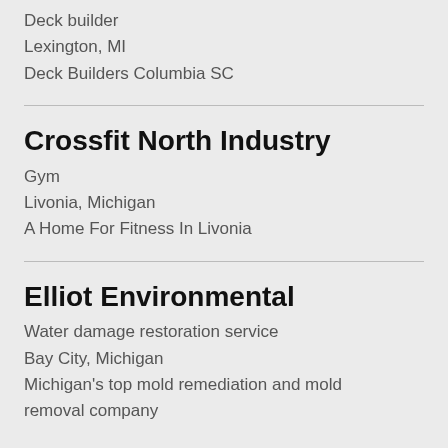Deck builder
Lexington, MI
Deck Builders Columbia SC
Crossfit North Industry
Gym
Livonia, Michigan
A Home For Fitness In Livonia
Elliot Environmental
Water damage restoration service
Bay City, Michigan
Michigan's top mold remediation and mold removal company